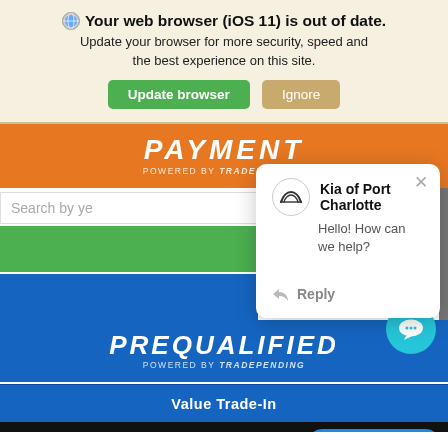Your web browser (iOS 11) is out of date. Update your browser for more security, speed and the best experience on this site. [Update browser] [Ignore]
[Figure (screenshot): Automotive dealership website screenshot showing PAYMENT and PREQUALIFIED banners, Value Trade-In, Get E-Price, and Value Your Trade buttons, partially obscured by a chat popup from Kia of Port Charlotte saying 'Hello! How can we help?' with a Reply option.]